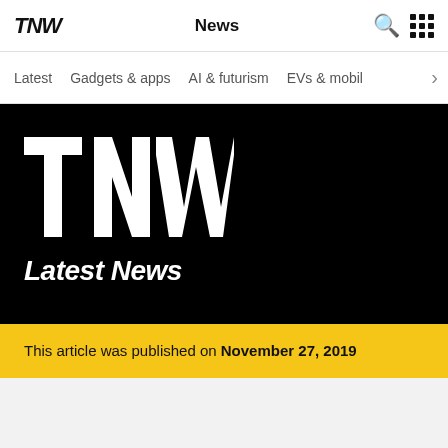TNW | News
Latest
Gadgets & apps
AI & futurism
EVs & mobil
[Figure (logo): TNW large white logo on black background with 'Latest News' subtitle]
This article was published on November 27, 2019